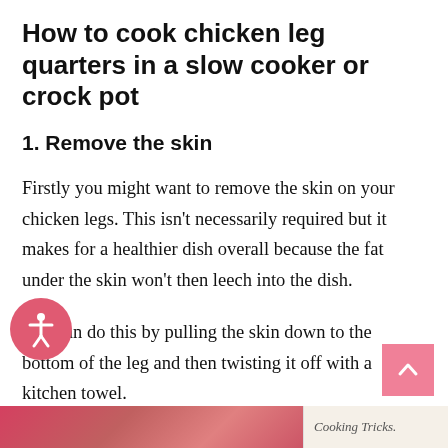How to cook chicken leg quarters in a slow cooker or crock pot
1. Remove the skin
Firstly you might want to remove the skin on your chicken legs. This isn't necessarily required but it makes for a healthier dish overall because the fat under the skin won't then leech into the dish.
You can do this by pulling the skin down to the bottom of the leg and then twisting it off with a kitchen towel.
[Figure (photo): Bottom strip showing food photo on left and 'Cooking Tricks.' text label on right]